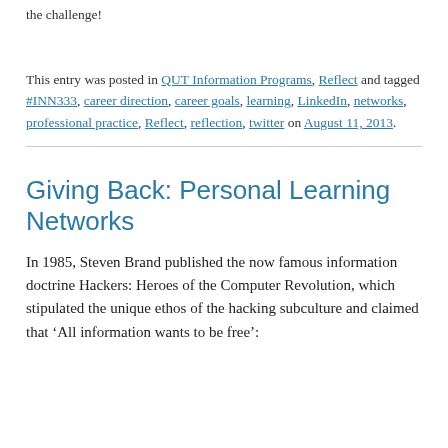This entry was posted in QUT Information Programs, Reflect and tagged #INN333, career direction, career goals, learning, LinkedIn, networks, professional practice, Reflect, reflection, twitter on August 11, 2013.
Giving Back: Personal Learning Networks
In 1985, Steven Brand published the now famous information doctrine Hackers: Heroes of the Computer Revolution, which stipulated the unique ethos of the hacking subculture and claimed that ‘All information wants to be free’: